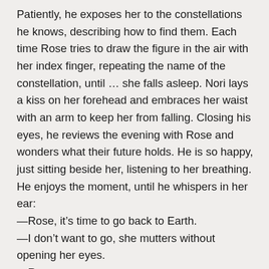Patiently, he exposes her to the constellations he knows, describing how to find them. Each time Rose tries to draw the figure in the air with her index finger, repeating the name of the constellation, until … she falls asleep. Nori lays a kiss on her forehead and embraces her waist with an arm to keep her from falling. Closing his eyes, he reviews the evening with Rose and wonders what their future holds. He is so happy, just sitting beside her, listening to her breathing. He enjoys the moment, until he whispers in her ear:
—Rose, it's time to go back to Earth.
—I don't want to go, she mutters without opening her eyes.
—Rose…
—I want to stay with you, she mutters again.
Nori decides to take Rose in his arms and bring her to a sofa, very near. It wouldn't be the first time they've slept together on a sofa. He smiles at the memory of that night